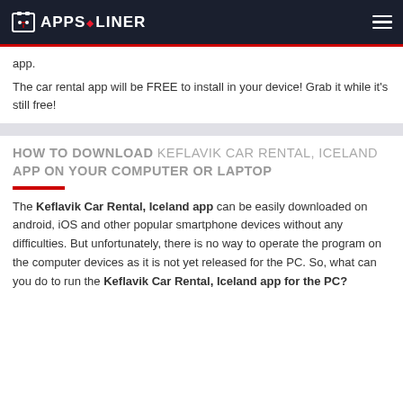APPS LINER
app.
The car rental app will be FREE to install in your device! Grab it while it's still free!
HOW TO DOWNLOAD KEFLAVIK CAR RENTAL, ICELAND APP ON YOUR COMPUTER OR LAPTOP
The Keflavik Car Rental, Iceland app can be easily downloaded on android, iOS and other popular smartphone devices without any difficulties. But unfortunately, there is no way to operate the program on the computer devices as it is not yet released for the PC. So, what can you do to run the Keflavik Car Rental, Iceland app for the PC?